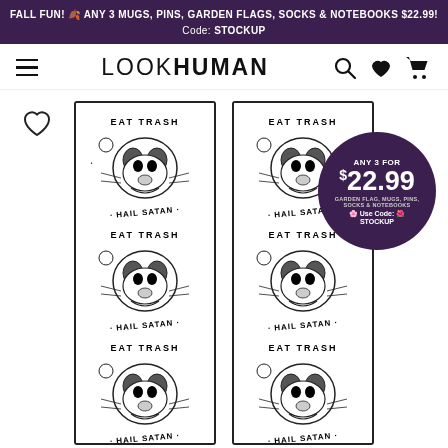FALL FUN! 🍂 ANY 3 MUGS, PINS, GARDEN FLAGS, SOCKS & NOTEBOOKS $22.99! Code: STOCKUP
LOOKHUMAN
[Figure (photo): Two white socks side by side with repeating pattern of illustrated raccoon/opossum face with text 'EAT TRASH HAIL SATAN' repeated vertically. Black and white illustration style.]
[Figure (infographic): Purple circular badge: ANY 3 FOR $22.99 GARDEN FLAG, MUGS, PINS, SOCKS & NOTEBOOKS Use Code: STOCKUP]